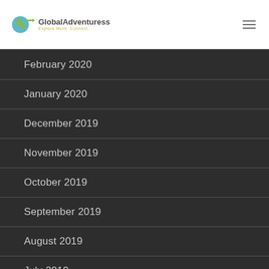Global Adventuress - Explore More. Connect.
February 2020
January 2020
December 2019
November 2019
October 2019
September 2019
August 2019
July 2019
June 2019